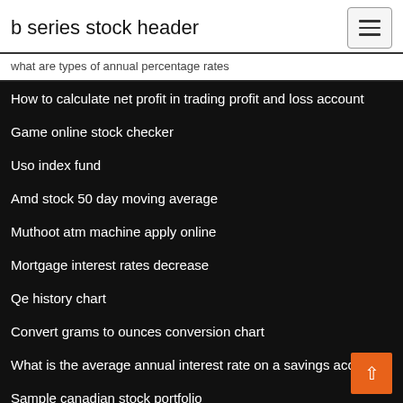b series stock header
what are types of annual percentage rates
How to calculate net profit in trading profit and loss account
Game online stock checker
Uso index fund
Amd stock 50 day moving average
Muthoot atm machine apply online
Mortgage interest rates decrease
Qe history chart
Convert grams to ounces conversion chart
What is the average annual interest rate on a savings account
Sample canadian stock portfolio